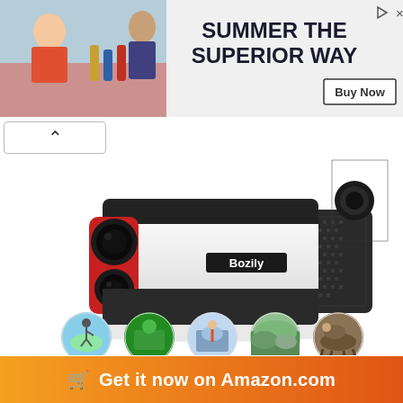[Figure (screenshot): Advertisement banner with a photo of people at a summer party on the left, and bold text 'SUMMER THE SUPERIOR WAY' with a 'Buy Now' button on the right. Play and close icons top-right.]
[Figure (photo): Bozily branded rangefinder device in white, red, and black, shown at an angle with five small circular activity icons below it (golf, hunting, outdoor sports, nature, equestrian).]
Get it now on Amazon.com